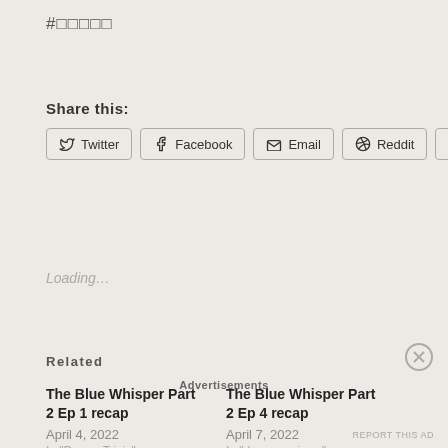#□□□□□
Share this:
Twitter  Facebook  Email  Reddit  Tumblr
Loading...
Related
The Blue Whisper Part 2 Ep 1 recap
April 4, 2022
In "Drama Trivia"
The Blue Whisper Part 2 Ep 4 recap
April 7, 2022
In "drama reviews"
Advertisements
REPORT THIS AD